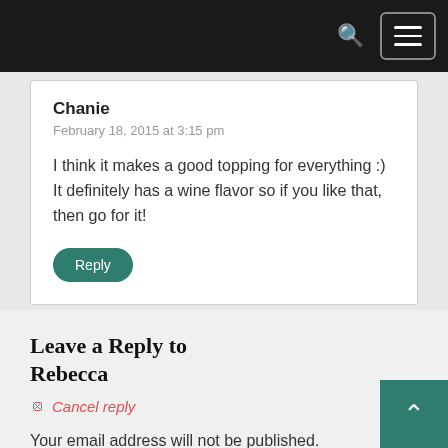Chanie
February 18, 2015 at 3:15 pm
I think it makes a good topping for everything :) It definitely has a wine flavor so if you like that, then go for it!
Leave a Reply to Rebecca
Cancel reply
Your email address will not be published. Required fields are marked *
Comment *